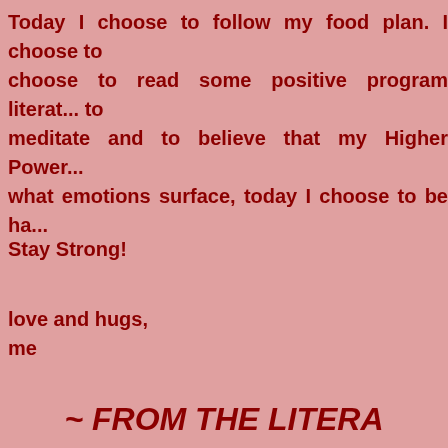Today I choose to follow my food plan. I choose to choose to read some positive program literature, to meditate and to believe that my Higher Power loves me. No what emotions surface, today I choose to be happy.
Stay Strong!
love and hugs,
me
[Figure (illustration): A decorative rectangular image with a light cream/white background featuring soft pink and peach floral motifs with leafy designs, framed with a thin border.]
~ FROM THE LITERA